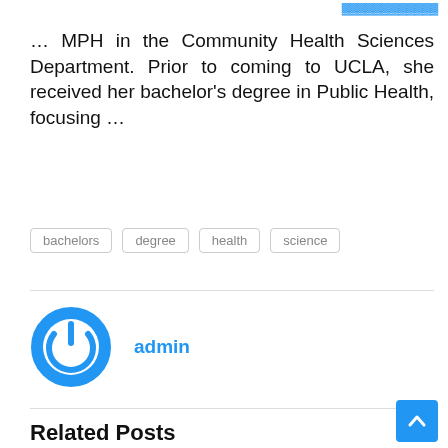… MPH in the Community Health Sciences Department. Prior to coming to UCLA, she received her bachelor's degree in Public Health, focusing …
bachelors
degree
health
science
admin
Related Posts
[Figure (photo): Cloudy sky landscape photo for related post]
Degree
Supply Chain and Logistics …